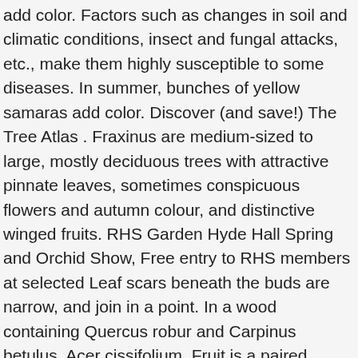add color. Factors such as changes in soil and climatic conditions, insect and fungal attacks, etc., make them highly susceptible to some diseases. In summer, bunches of yellow samaras add color. Discover (and save!) The Tree Atlas . Fraxinus are medium-sized to large, mostly deciduous trees with attractive pinnate leaves, sometimes conspicuous flowers and autumn colour, and distinctive winged fruits. RHS Garden Hyde Hall Spring and Orchid Show, Free entry to RHS members at selected Leaf scars beneath the buds are narrow, and join in a point. In a wood containing Quercus robur and Carpinus betulus. Acer cissifolium. Fruit is a paired winged seed, occurring in clusters. Mar 9, 2019 - Narrow leaved Ash is not as frequent as Common Ash but is very similar. Fraxinus greggii “Little leaf ash” (Sonoran Desert Native) This small ash tree grows slowly and is easily pruned into a multi-trunked tree. Narrowleaf Ash Tree. Suitable for: light (sandy), medium (loamy) and heavy (clay) soils. Narrow Leaved Ash - leaves in the sun - September 2019 by Exeter Trees. In addition to providing